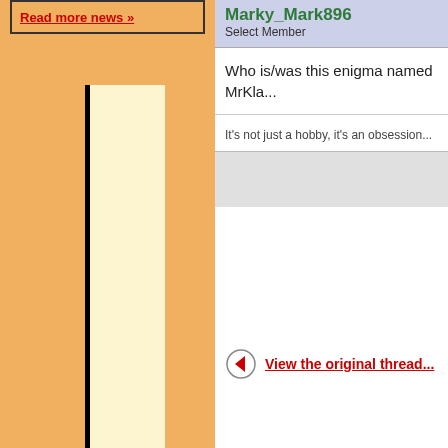Read more news »
Marky_Mark896
Select Member
Who is/was this enigma named MrKla...
It's not just a hobby, it's an obsession...
View the original thread...